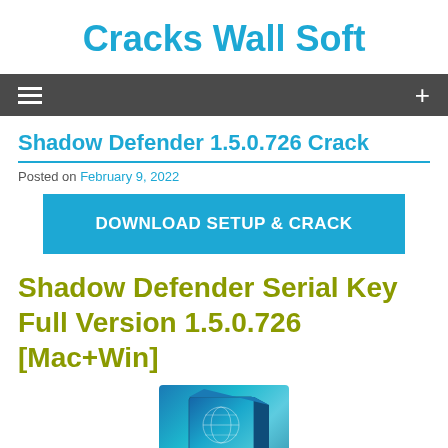Cracks Wall Soft
[Figure (other): Navigation bar with hamburger menu icon on left and plus icon on right, dark gray background]
Shadow Defender 1.5.0.726 Crack
Posted on February 9, 2022
[Figure (other): Blue button with text DOWNLOAD SETUP & CRACK]
Shadow Defender Serial Key Full Version 1.5.0.726 [Mac+Win]
[Figure (photo): Product box image for Shadow Defender software, teal/blue colored box]